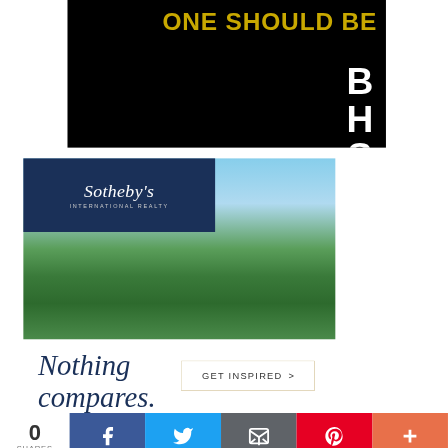[Figure (advertisement): Black background advertisement with gold bold text 'ONE SHOULD BE EASY.' and white vertical letters 'B H S' on the right side (BHS Sotheby's International Realty branding)]
[Figure (advertisement): Sotheby's International Realty advertisement with dark navy blue panel showing 'Sotheby's INTERNATIONAL REALTY' logo text over a landscape photo of green trees and sky]
Nothing compares.
[Figure (other): GET INSPIRED button with gold border and right arrow]
0 SHARES — social share bar with Facebook, Twitter, Email, Pinterest, and More buttons